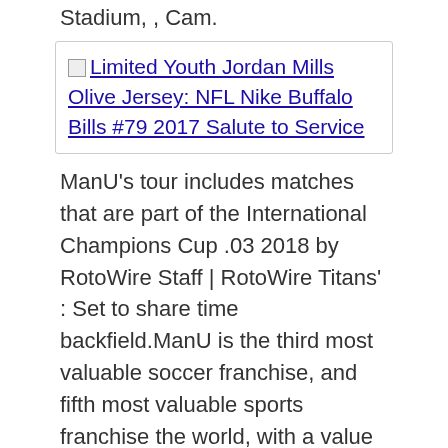Stadium, , Cam.
[Figure (other): Broken image link: Limited Youth Jordan Mills Olive Jersey: NFL Nike Buffalo Bills #79 2017 Salute to Service]
ManU’s tour includes matches that are part of the International Champions Cup .03 2018 by RotoWire Staff | RotoWire Titans’ : Set to share time backfield.ManU is the third most valuable soccer franchise, and fifth most valuable sports franchise the world, with a value estimated at more than $3 billion.With no longer around to contend with, — health permitting — should easily eclipse the 176 carries that he logged 2017.
Hungary: Gulacsi , Fiola , Otigba , Lovrencsics , Hangya , Pinter , Kleinheisler , Dzsudzsak , Varga , Guzmics , Szalai .Keeps eye on receivers running behind him, can stay with them across the field.Everybody is excited for the tour and it gives us the opportunity to play front of some of the millions of Manchester United supporters which we have across the USA, said Woodward.3 AFC playoff seed, ESPN’s Michael